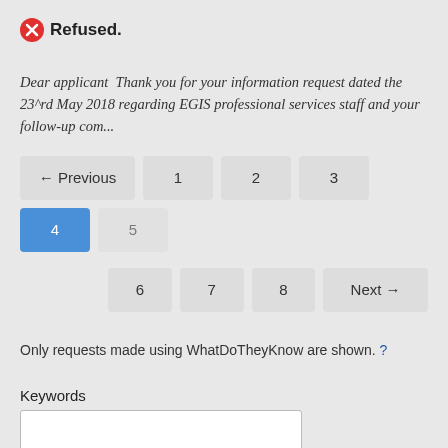Refused.
Dear applicant  Thank you for your information request dated the 23^rd May 2018 regarding EGIS professional services staff and your follow-up com...
← Previous  1  2  3  4  5  6  7  8  Next →
Only requests made using WhatDoTheyKnow are shown. ?
Keywords
Made between